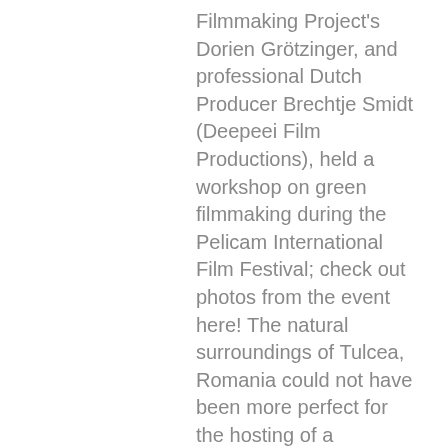Filmmaking Project's Dorien Grötzinger, and professional Dutch Producer Brechtje Smidt (Deepeei Film Productions), held a workshop on green filmmaking during the Pelicam International Film Festival; check out photos from the event here! The natural surroundings of Tulcea, Romania could not have been more perfect for the hosting of a workshop on sustainable film production, as Tulcea itself, is located near a nature reserve surrounding the Danube Delta. Benjamin Ribout's vision (Director of the Pelicam Festival) aims to put visitors in touch with nature, alongside the most important international films concerning the environment: Mission Accomplished! [illustration: Madalina Andronic] The